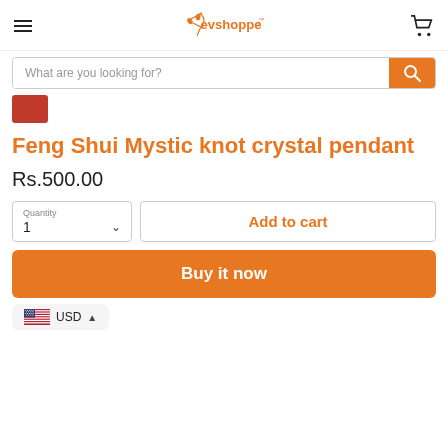evshopper (logo with cart icon)
What are you looking for?
[Figure (photo): Small red product thumbnail image]
Feng Shui Mystic knot crystal pendant
Rs.500.00
Quantity 1
Add to cart
Buy it now
USD